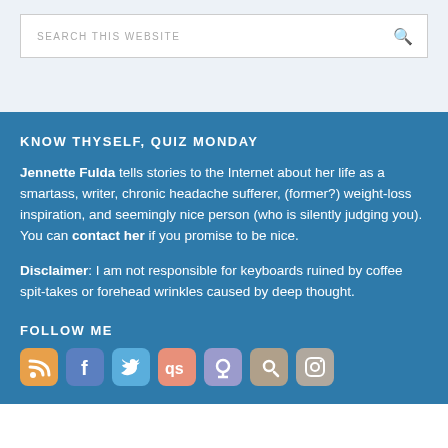[Figure (screenshot): Search bar with placeholder text 'SEARCH THIS WEBSITE' and a magnifying glass icon on the right, on a light blue-grey background]
KNOW THYSELF, QUIZ MONDAY
Jennette Fulda tells stories to the Internet about her life as a smartass, writer, chronic headache sufferer, (former?) weight-loss inspiration, and seemingly nice person (who is silently judging you). You can contact her if you promise to be nice.
Disclaimer: I am not responsible for keyboards ruined by coffee spit-takes or forehead wrinkles caused by deep thought.
FOLLOW ME
[Figure (infographic): Row of social media icon buttons: RSS (orange), Facebook (blue), Twitter (light blue), Last.fm (salmon/orange), Goodreads (purple), Goodreads/another (tan), Instagram (grey-brown)]